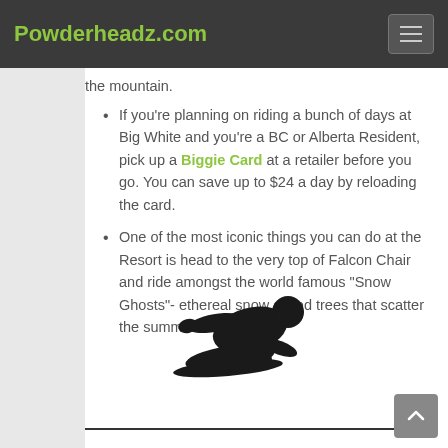Powderheadz.com
the mountain.
If you're planning on riding a bunch of days at Big White and you're a BC or Alberta Resident, pick up a Biggie Card at a retailer before you go. You can save up to $24 a day by reloading the card.
One of the most iconic things you can do at the Resort is head to the very top of Falcon Chair and ride amongst the world famous "Snow Ghosts"- ethereal snow caked trees that scatter the summit.
[Figure (illustration): Black silhouette of a snowboarder in action, facing left]